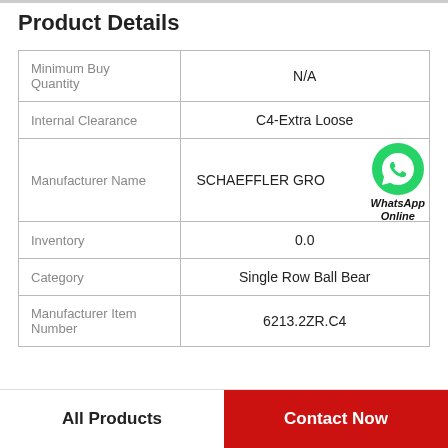Product Details
|  |  |
| --- | --- |
| Minimum Buy Quantity | N/A |
| Internal Clearance | C4-Extra Loose |
| Manufacturer Name | SCHAEFFLER GRO |
| Inventory | 0.0 |
| Category | Single Row Ball Bear |
| Manufacturer Item Number | 6213.2ZR.C4 |
All Products
Contact Now